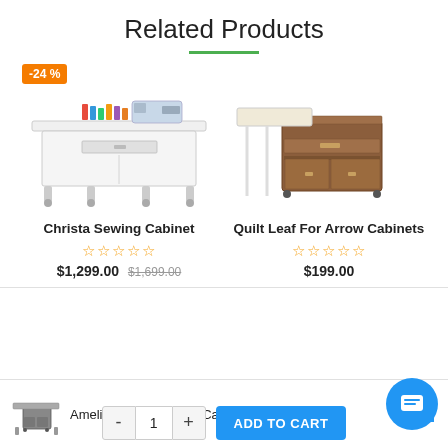Related Products
[Figure (photo): Christa Sewing Cabinet – white sewing table with sewing machine and thread spools on top, on wheels. Has a -24% discount badge.]
[Figure (photo): Quilt Leaf For Arrow Cabinets – brown wooden cabinet with a folding white leaf/table extended, on wheels.]
Christa Sewing Cabinet
☆☆☆☆☆
$1,299.00  $1,699.00
Quilt Leaf For Arrow Cabinets
☆☆☆☆☆
$199.00
[Figure (photo): Amelia Luxury Sewing Cabinet – small thumbnail image of a sewing cabinet]
Amelia Luxury Sewing Cabinet
$4,5…